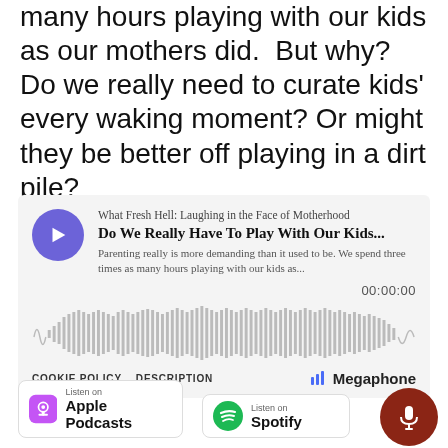many hours playing with our kids as our mothers did.  But why? Do we really need to curate kids' every waking moment? Or might they be better off playing in a dirt pile?
[Figure (screenshot): Megaphone podcast player embed showing 'What Fresh Hell: Laughing in the Face of Motherhood – Do We Really Have To Play With Our Kids...' with waveform audio visualization, time 00:00:00, cookie policy and description links, and Megaphone branding]
[Figure (other): Listen on Apple Podcasts badge]
[Figure (other): Listen on Spotify badge]